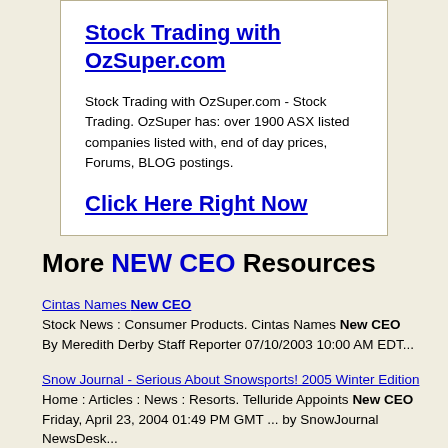[Figure (other): Advertisement box with title 'Stock Trading with OzSuper.com', body text, and call-to-action link 'Click Here Right Now']
More NEW CEO Resources
Cintas Names New CEO - Stock News : Consumer Products. Cintas Names New CEO By Meredith Derby Staff Reporter 07/10/2003 10:00 AM EDT...
Snow Journal - Serious About Snowsports! 2005 Winter Edition - Home : Articles : News : Resorts. Telluride Appoints New CEO Friday, April 23, 2004 01:49 PM GMT ... by SnowJournal NewsDesk...